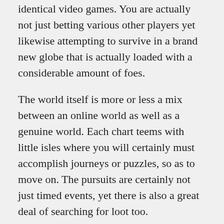identical video games. You are actually not just betting various other players yet likewise attempting to survive in a brand new globe that is actually loaded with a considerable amount of foes.
The world itself is more or less a mix between an online world as well as a genuine world. Each chart teems with little isles where you will certainly must accomplish journeys or puzzles, so as to move on. The pursuits are certainly not just timed events, yet there is also a great deal of searching for loot too.
The principal goals of the video game are to pick up as several points as achievable. As you play even more of the